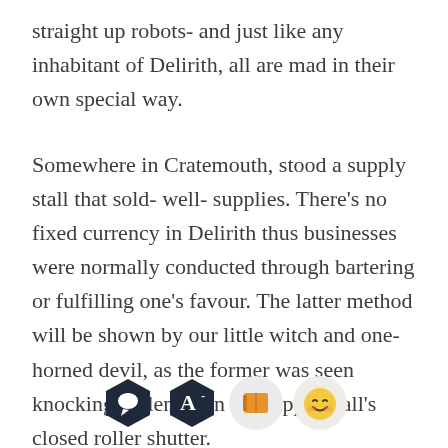straight up robots- and just like any inhabitant of Delirith, all are mad in their own special way.
Somewhere in Cratemouth, stood a supply stall that sold- well- supplies. There's no fixed currency in Delirith thus businesses were normally conducted through bartering or fulfilling one's favour. The latter method will be shown by our little witch and one-horned devil, as the former was seen knocking violently on the supply stall's closed roller shutter.
[Figure (infographic): Four app/UI icons in a row: a dark hexagon with a speech bubble, a dark hexagon with a letter A and minus sign, a light circle with an orange book, and a light circle with a smiling face emoji.]